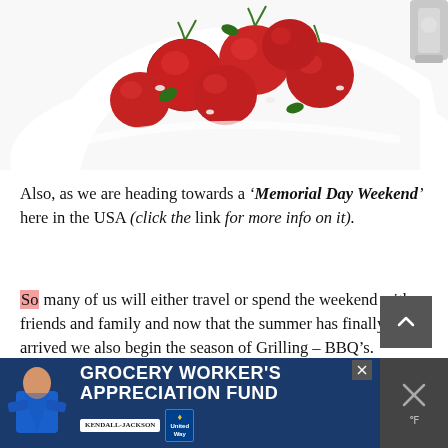[Figure (photo): Close-up photo of a white bowl/plate containing cherry tomatoes with herbs and garnishes on a white background]
Also, as we are heading towards a ‘Memorial Day Weekend’ here in the USA (click the link for more info on it).
So many of us will either travel or spend the weekend with friends and family and now that the summer has finally arrived we also begin the season of Grilling – BBQ’s.
[Figure (other): Dark gray scroll-to-top button with upward chevron arrow]
[Figure (other): Advertisement banner for Grocery Worker's Appreciation Fund featuring Kendall-Jackson and United Way logos with a person in blue uniform]